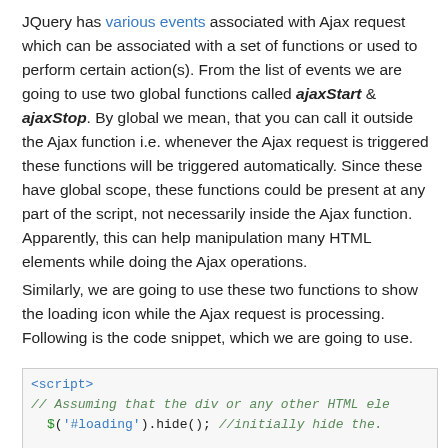JQuery has various events associated with Ajax request which can be associated with a set of functions or used to perform certain action(s). From the list of events we are going to use two global functions called ajaxStart & ajaxStop. By global we mean, that you can call it outside the Ajax function i.e. whenever the Ajax request is triggered these functions will be triggered automatically. Since these have global scope, these functions could be present at any part of the script, not necessarily inside the Ajax function. Apparently, this can help manipulation many HTML elements while doing the Ajax operations.
Similarly, we are going to use these two functions to show the loading icon while the Ajax request is processing. Following is the code snippet, which we are going to use.
<script>
// Assuming that the div or any other HTML ele
    $('#loading').hide(); //initially hide the.

        $('#loading').ajaxStart(function(){
            $(this).show();